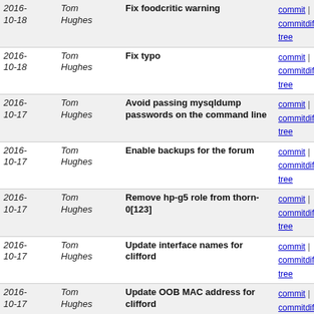| Date | Author | Message | Links |
| --- | --- | --- | --- |
| 2016-10-18 | Tom Hughes | Fix foodcritic warning | commit | commitdiff | tree |
| 2016-10-18 | Tom Hughes | Fix typo | commit | commitdiff | tree |
| 2016-10-17 | Tom Hughes | Avoid passing mysqldump passwords on the command line | commit | commitdiff | tree |
| 2016-10-17 | Tom Hughes | Enable backups for the forum | commit | commitdiff | tree |
| 2016-10-17 | Tom Hughes | Remove hp-g5 role from thorn-0[123] | commit | commitdiff | tree |
| 2016-10-17 | Tom Hughes | Update interface names for clifford | commit | commitdiff | tree |
| 2016-10-17 | Tom Hughes | Update OOB MAC address for clifford | commit | commitdiff | tree |
| 2016-10-17 | Tom Hughes | Update clifford for hardware switch from G5 to G6 | commit | commitdiff | tree |
| 2016-10-16 | Tom Hughes | Sort logstash server firewall rules by node name | commit | commitdiff | tree |
| 2016-10-16 | Tom Hughes | Sort git server firewall rules by node name | commit | commitdiff | tree |
| 2016-10-16 | Tom Hughes | Use smartd as the service name on 16.04 | commit | commitdiff | tree |
| 2016-10-16 | Tom Hughes | Make map export report an error on resource exhaustion | commit | commitdiff | tree |
| 2016-10-14 | Tom Hughes | Use consistent permissions for planet history directory | commit | commitdiff | tree |
| 2016- | Tom | Sort allow/deny lists in rsyncd conf | commit | |